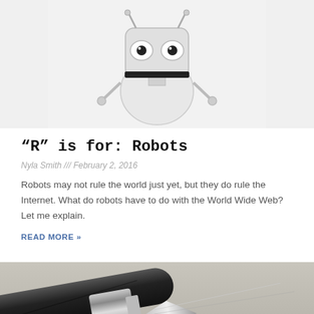[Figure (photo): A small silver/white toy robot figure with large round eyes, photographed on a white background. Only the upper portion of the robot is visible.]
“R” is for: Robots
Nyla Smith /// February 2, 2016
Robots may not rule the world just yet, but they do rule the Internet. What do robots have to do with the World Wide Web? Let me explain.
READ MORE »
[Figure (photo): Close-up photo of a black and silver fountain pen nib on a light grey background, showing the pen tip from above at an angle.]